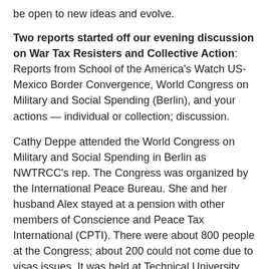be open to new ideas and evolve.
Two reports started off our evening discussion on War Tax Resisters and Collective Action: Reports from School of the America's Watch US-Mexico Border Convergence, World Congress on Military and Social Spending (Berlin), and your actions — individual or collection; discussion.
Cathy Deppe attended the World Congress on Military and Social Spending in Berlin as NWTRCC's rep. The Congress was organized by the International Peace Bureau. She and her husband Alex stayed at a pension with other members of Conscience and Peace Tax International (CPTI). There were about 800 people at the Congress; about 200 could not come due to visas issues. It was held at Technical University, which had a mission after WWII to never again be used for military purposes. Recently, they allowed 300 refugees in free on scholarships.